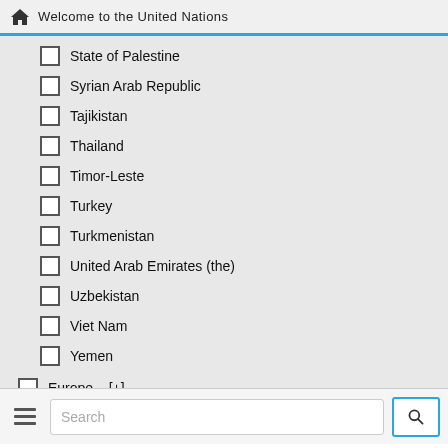Welcome to the United Nations
State of Palestine
Syrian Arab Republic
Tajikistan
Thailand
Timor-Leste
Turkey
Turkmenistan
United Arab Emirates (the)
Uzbekistan
Viet Nam
Yemen
Europe [+]
(-) Oceania [+]
(-) Australia
Cook Islands
Fiji